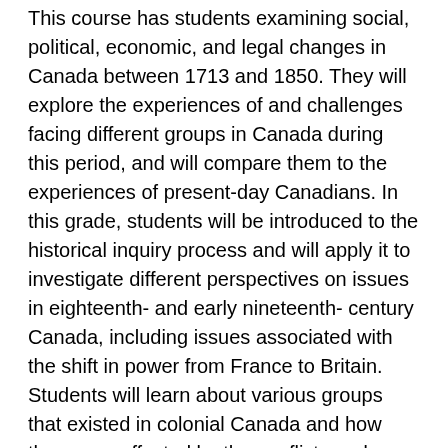This course has students examining social, political, economic, and legal changes in Canada between 1713 and 1850. They will explore the experiences of and challenges facing different groups in Canada during this period, and will compare them to the experiences of present-day Canadians. In this grade, students will be introduced to the historical inquiry process and will apply it to investigate different perspectives on issues in eighteenth- and early nineteenth- century Canada, including issues associated with the shift in power from France to Britain. Students will learn about various groups that existed in colonial Canada and how they were affected by the conflicts and changes that characterized this period. They will begin to apply the concepts of historical thinking to their study of Canadian history, leading to deeper and more meaningful explorations of life in colonial Canada. Students will also develop their ability to gather and critically analyse evidence from primary sources in order to form their own conclusions